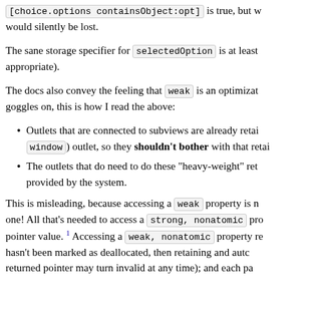[choice.options containsObject:opt] is true, but wh... would silently be lost.
The sane storage specifier for selectedOption is at least ... appropriate).
The docs also convey the feeling that weak is an optimizat... goggles on, this is how I read the above:
Outlets that are connected to subviews are already retai... window) outlet, so they shouldn't bother with that retai...
The outlets that do need to do these "heavy-weight" reta... provided by the system.
This is misleading, because accessing a weak property is n... one! All that's needed to access a strong, nonatomic pro... pointer value. 1 Accessing a weak, nonatomic property re... hasn't been marked as deallocated, then retaining and autc... returned pointer may turn invalid at any time); and each pa...